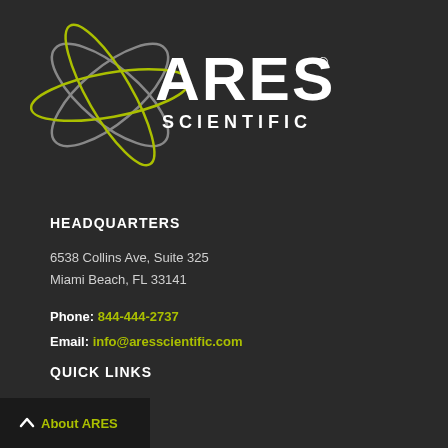[Figure (logo): ARES Scientific logo with atom graphic in gray and yellow-green, white bold text ARES with registered trademark symbol, and SCIENTIFIC below]
HEADQUARTERS
6538 Collins Ave, Suite 325
Miami Beach, FL 33141
Phone: 844-444-2737
Email: info@aresscientific.com
QUICK LINKS
About ARES